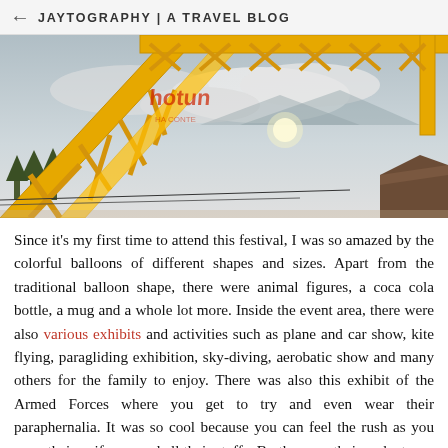← JAYTOGRAPHY | A TRAVEL BLOG
[Figure (photo): Outdoor photo looking up at a yellow steel truss arch/gate structure against a partly cloudy sky, with trees and a rooftop visible in the background. Red text signage visible on the structure.]
Since it's my first time to attend this festival, I was so amazed by the colorful balloons of different shapes and sizes. Apart from the traditional balloon shape, there were animal figures, a coca cola bottle, a mug and a whole lot more. Inside the event area, there were also various exhibits and activities such as plane and car show, kite flying, paragliding exhibition, sky-diving, aerobatic show and many others for the family to enjoy. There was also this exhibit of the Armed Forces where you get to try and even wear their paraphernalia. It was so cool because you can feel the rush as you wear their uniforms and all their stuffs. By the way, their gadgets are really heavy!